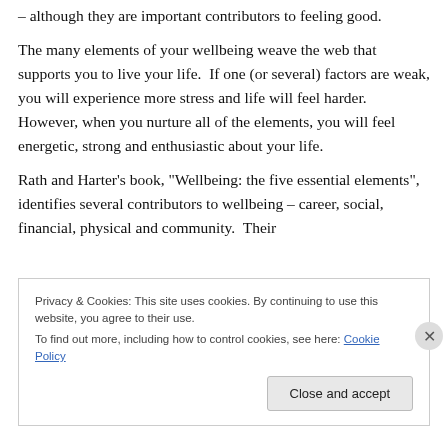– although they are important contributors to feeling good.
The many elements of your wellbeing weave the web that supports you to live your life.  If one (or several) factors are weak, you will experience more stress and life will feel harder.  However, when you nurture all of the elements, you will feel energetic, strong and enthusiastic about your life.
Rath and Harter’s book, “Wellbeing: the five essential elements”, identifies several contributors to wellbeing – career, social, financial, physical and community.  Their
Privacy & Cookies: This site uses cookies. By continuing to use this website, you agree to their use.
To find out more, including how to control cookies, see here: Cookie Policy